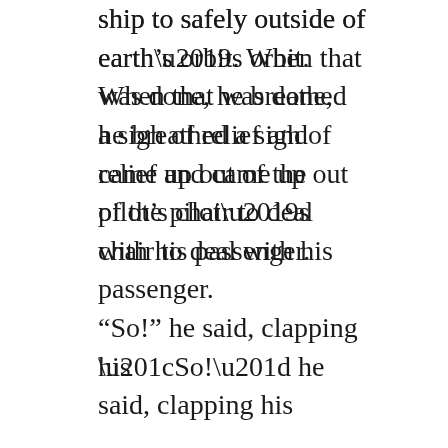ship to safely outside of earth’s orbit. When that was done, he breathed a sigh of relief and came up out of the pilot’s chair to deal with his passenger.

“So!” he said, clapping his